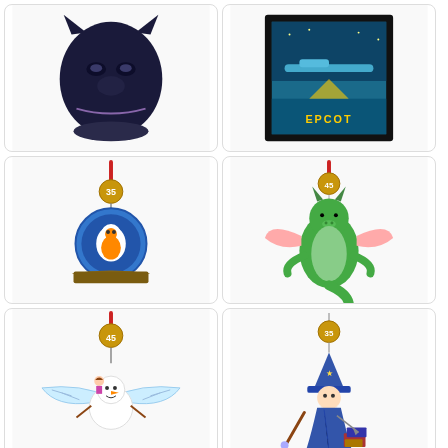[Figure (photo): Black Panther mask/bust ornament - dark blue/black sculpted figure]
[Figure (photo): EPCOT themed framed artwork with monorail and teal/yellow retro design]
[Figure (photo): Disney sketchbook ornament with character in blue circular frame, 35th anniversary medallion, red ribbon hanger]
[Figure (photo): Green dragon character ornament hanging with pink wings and 45th anniversary medallion, red ribbon]
[Figure (photo): Olaf with wings and small character ornament, 45th anniversary gold medallion, red ribbon hanger]
[Figure (photo): Wizard/sorcerer character ornament in blue robes with books, 35th anniversary gold medallion]